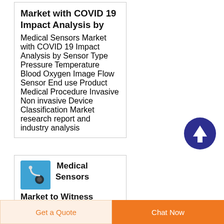Market with COVID 19 Impact Analysis by
Medical Sensors Market with COVID 19 Impact Analysis by Sensor Type Pressure Temperature Blood Oxygen Image Flow Sensor End use Product Medical Procedure Invasive Non invasive Device Classification Market research report and industry analysis
[Figure (illustration): Dark blue circle with white upward arrow icon (scroll-to-top button)]
[Figure (photo): Blue square thumbnail image of a medical sensor/stethoscope on light blue background]
Medical Sensors Market to Witness
Get a Quote
Chat Now